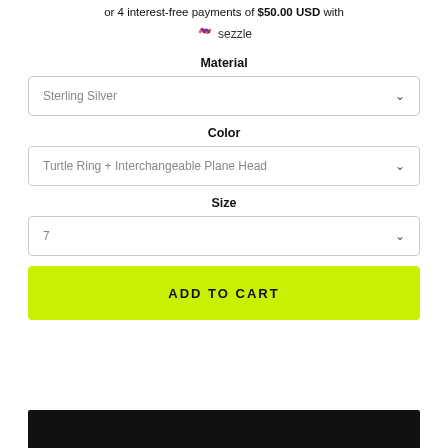or 4 interest-free payments of $50.00 USD with sezzle
Material
Sterling Silver
Color
Turtle Ring + Interchangeable Plane Head
Size
7
ADD TO CART
[Figure (other): Black bar at bottom of page]